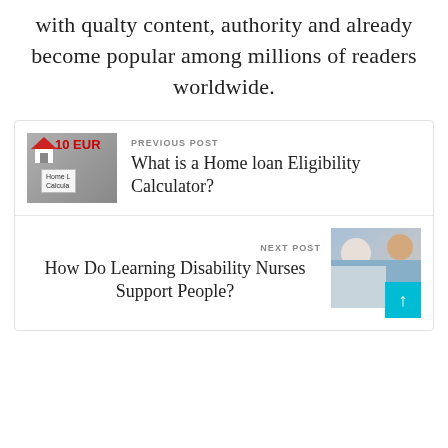with qualty content, authority and already become popular among millions of readers worldwide.
[Figure (other): Thumbnail image of a calculator with euro note and 'Home Loan Calculator' label overlay]
PREVIOUS POST
What is a Home loan Eligibility Calculator?
NEXT POST
How Do Learning Disability Nurses Support People?
[Figure (photo): Photo of a nurse helping an elderly patient]